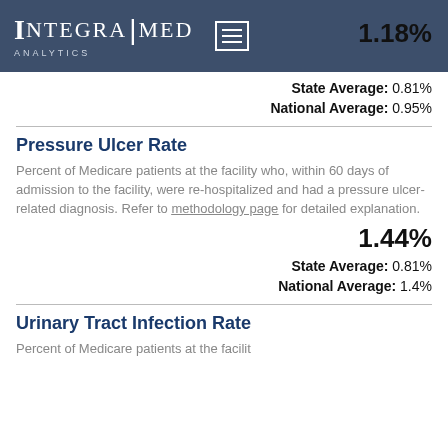INTEGRA|MED ANALYTICS
1.18%
State Average: 0.81%
National Average: 0.95%
Pressure Ulcer Rate
Percent of Medicare patients at the facility who, within 60 days of admission to the facility, were re-hospitalized and had a pressure ulcer-related diagnosis. Refer to methodology page for detailed explanation.
1.44%
State Average: 0.81%
National Average: 1.4%
Urinary Tract Infection Rate
Percent of Medicare patients at the facilit...